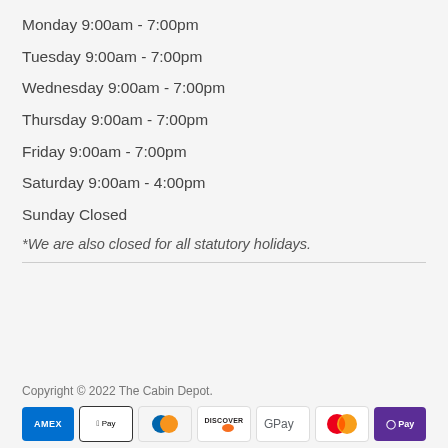Monday 9:00am - 7:00pm
Tuesday 9:00am - 7:00pm
Wednesday 9:00am - 7:00pm
Thursday 9:00am - 7:00pm
Friday 9:00am - 7:00pm
Saturday 9:00am - 4:00pm
Sunday Closed
*We are also closed for all statutory holidays.
Copyright © 2022 The Cabin Depot.
[Figure (other): Payment method icons: AMEX, Apple Pay, Diners Club, Discover, Google Pay, Mastercard, OPay]